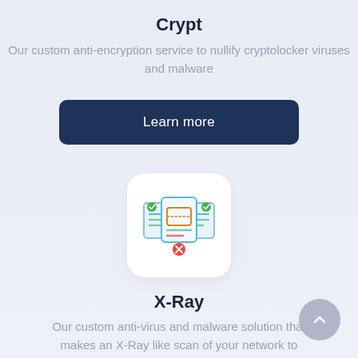Crypt
Our custom anti-encryption service to nullify cryptolocker viruses and malware
[Figure (other): Dark blue rounded rectangle button labeled 'Learn more']
[Figure (illustration): White rounded square icon box containing an illustration of documents with green checkmarks and a red cancel symbol, representing X-Ray scanning]
X-Ray
Our custom anti-virus and malware solution that makes an X-Ray like scan of your network to